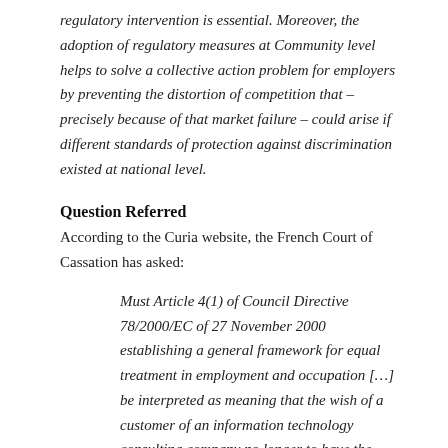regulatory intervention is essential. Moreover, the adoption of regulatory measures at Community level helps to solve a collective action problem for employers by preventing the distortion of competition that – precisely because of that market failure – could arise if different standards of protection against discrimination existed at national level.
Question Referred
According to the Curia website, the French Court of Cassation has asked:
Must Article 4(1) of Council Directive 78/2000/EC of 27 November 2000 establishing a general framework for equal treatment in employment and occupation […] be interpreted as meaning that the wish of a customer of an information technology consulting company no longer to have the information technology services of that company provided by an